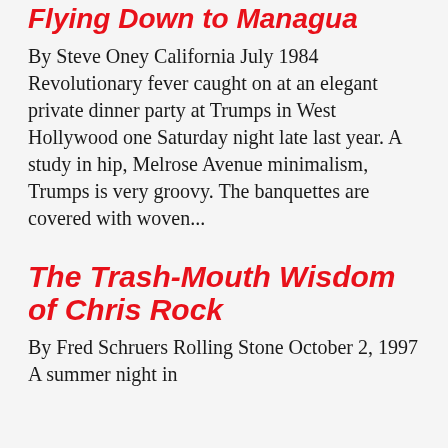Flying Down to Managua
By Steve Oney California July 1984 Revolutionary fever caught on at an elegant private dinner party at Trumps in West Hollywood one Saturday night late last year. A study in hip, Melrose Avenue minimalism, Trumps is very groovy. The banquettes are covered with woven...
The Trash-Mouth Wisdom of Chris Rock
By Fred Schruers Rolling Stone October 2, 1997 A summer night in